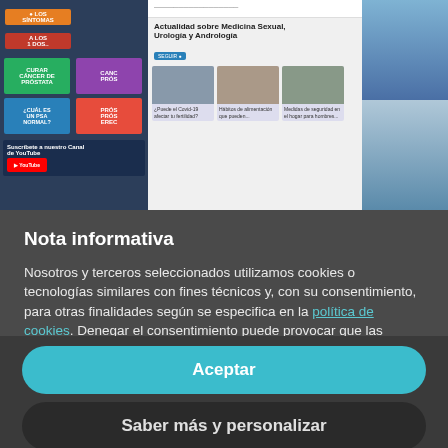[Figure (screenshot): Screenshot of a medical website about Medicina Sexual, Urología y Andrología, showing a dark left panel with video thumbnails and a 'Suscríbete a nuestro Canal de YouTube' section, a white center panel with article cards, and a dark right panel.]
Nota informativa
Nosotros y terceros seleccionados utilizamos cookies o tecnologías similares con fines técnicos y, con su consentimiento, para otras finalidades según se especifica en la política de cookies. Denegar el consentimiento puede provocar que las características relacionadas no estén disponibles. Puede consentir el uso de dichas tecnologías utilizando el botón de "Aceptar".
Aceptar
Saber más y personalizar